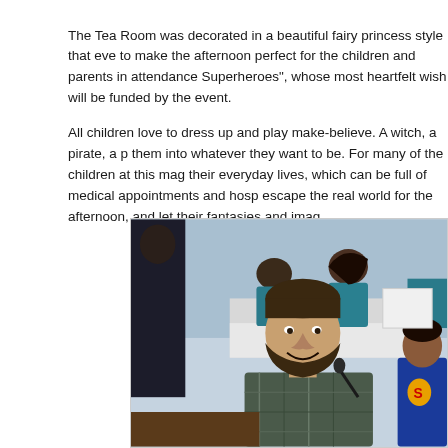The Tea Room was decorated in a beautiful fairy princess style that ever to make the afternoon perfect for the children and parents in attendance Superheroes", whose most heartfelt wish will be funded by the event.
All children love to dress up and play make-believe. A witch, a pirate, a p them into whatever they want to be. For many of the children at this mag their everyday lives, which can be full of medical appointments and hosp escape the real world for the afternoon, and let their fantasies and imag
[Figure (photo): Event photo showing a smiling bearded man in a plaid shirt seated in the foreground, with a child in a Superman costume partially visible on the right. In the background, volunteers in teal/blue shirts are seated at a table. The setting appears to be an event venue with blue and white decor.]